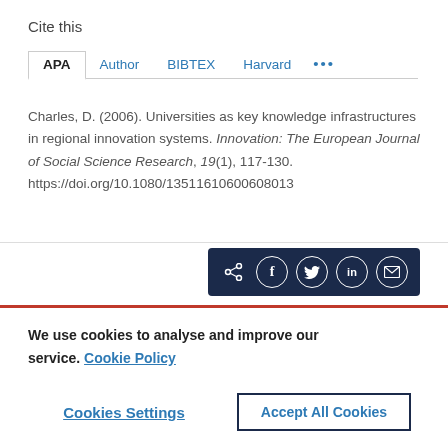Cite this
APA  Author  BIBTEX  Harvard  ...
Charles, D. (2006). Universities as key knowledge infrastructures in regional innovation systems. Innovation: The European Journal of Social Science Research, 19(1), 117-130. https://doi.org/10.1080/13511610600608013
[Figure (other): Social share icon bar with share, Facebook, Twitter, LinkedIn, and email icons on dark navy background]
We use cookies to analyse and improve our service. Cookie Policy
Cookies Settings
Accept All Cookies